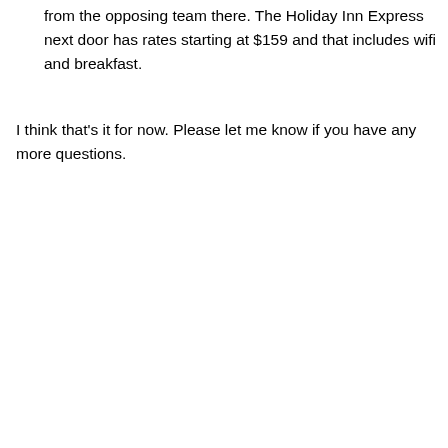from the opposing team there. The Holiday Inn Express next door has rates starting at $159 and that includes wifi and breakfast.
I think that's it for now. Please let me know if you have any more questions.